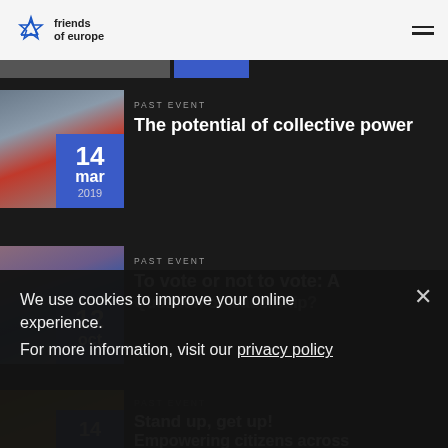friends of europe
[Figure (photo): Red double-decker bus on a London street, partially visible at top]
PAST EVENT
The potential of collective power
14 mar 2019
[Figure (photo): Woman with blue hair at a pro-EU protest, European Union flag with peace symbol visible]
PAST EVENT
To vote or not to vote: A Question of leadership?
12 oct
We use cookies to improve your online experience.
For more information, visit our privacy policy
[Figure (photo): Orange and yellow raised fist graphic, partially visible at bottom]
PAST EVENT
Stand up, get up! Empowering citizens across